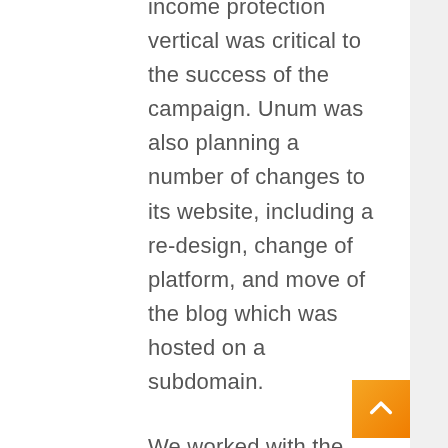income protection vertical was critical to the success of the campaign. Unum was also planning a number of changes to its website, including a re-design, change of platform, and move of the blog which was hosted on a subdomain.
We worked with the num team to develop an SEO strategy that helped improve relevancy and alignment of the website, while also developing a content & digital PR strategy to bring value to its target audiences, rather than just talking about products and services like much of the competition.